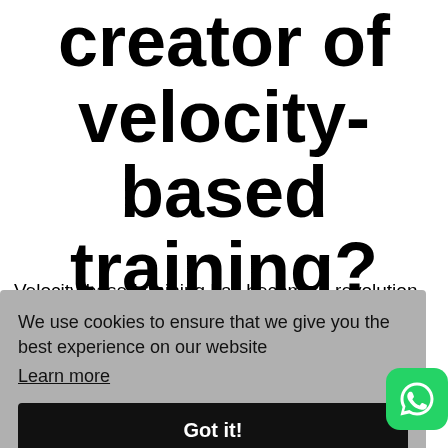creator of velocity-based training?
Velocity-based training has become a revolution in …science … ors and … trai… a proven validity and efficacy that greatly
We use cookies to ensure that we give you the best experience on our website
Learn more
Got it!